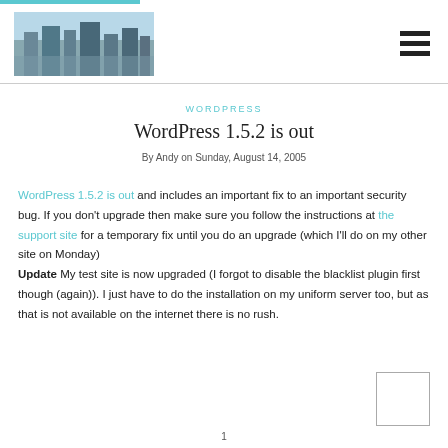WordPress blog header with city skyline image and hamburger menu icon
WORDPRESS
WordPress 1.5.2 is out
By Andy on Sunday, August 14, 2005
WordPress 1.5.2 is out and includes an important fix to an important security bug. If you don't upgrade then make sure you follow the instructions at the support site for a temporary fix until you do an upgrade (which I'll do on my other site on Monday) Update My test site is now upgraded (I forgot to disable the blacklist plugin first though (again)). I just have to do the installation on my uniform server too, but as that is not available on the internet there is no rush.
1